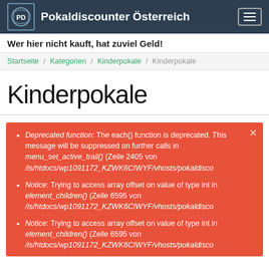Pokaldiscounter Österreich
Wer hier nicht kauft, hat zuviel Geld!
Startseite / Kategorien / Kinderpokale / Kinderpokale
Kinderpokale
Deprecated function: The each() function is deprecated. This message will be suppressed on further calls in menu_set_active_trail() (Zeile 2405 von /is/htdocs/wp1091172_KZWK6CIWYF/vhosts/pokaldisco
Notice: Trying to access array offset on value of type int in element_children() (Zeile 6595 von /is/htdocs/wp1091172_KZWK6CIWYF/vhosts/pokaldisco
Notice: Trying to access array offset on value of type int in element_children() (Zeile 6595 von /is/htdocs/wp1091172_KZWK6CIWYF/vhosts/pokaldisco